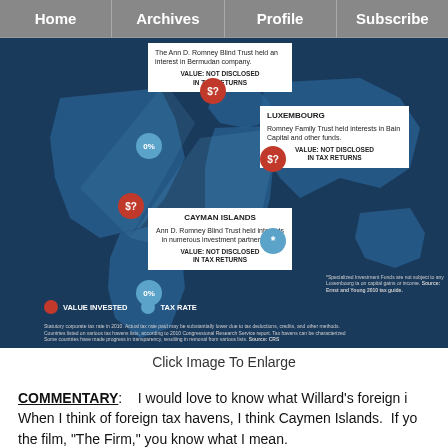Home | Archives | Profile | Subscribe
[Figure (infographic): World map infographic showing Romney family foreign tax haven investments. Cayman Islands: Ann D. Romney Blind Trust held interests in numerous investment partnerships. VALUE: NOT DISCLOSED IN TAX RETURNS. Luxembourg: Romney Family Trust held interests in Bain Capital and other funds. VALUE: NOT DISCLOSED IN TAX RETURNS. Bermuda: The Ann D. Romney Blind Trust held an interest in Bermudan company. VALUE: NOT DISCLOSED IN TAX RETURNS. Red circles = VALUE INVESTED, Blue circles = TAX RATE (0% shown).]
Click Image To Enlarge
COMMENTARY:    I would love to know what Willard's foreign i When I think of foreign tax havens, I think Caymen Islands.  If yo the film, "The Firm," you know what I mean.
With respect to Romney's foreign investments and bank accou